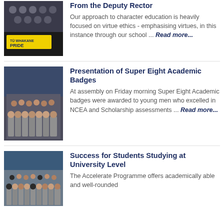[Figure (photo): School students in uniform with yellow banner reading 'TO WHAKANE PRIDE']
From the Deputy Rector
Our approach to character education is heavily focused on virtue ethics - emphasising virtues, in this instance through our school ... Read more...
[Figure (photo): Group of school boys in uniform standing together for a photo]
Presentation of Super Eight Academic Badges
At assembly on Friday morning Super Eight Academic badges were awarded to young men who excelled in NCEA and Scholarship assessments ... Read more...
[Figure (photo): Group of school students in grey uniforms posing for a photo outdoors]
Success for Students Studying at University Level
The Accelerate Programme offers academically able and well-rounded